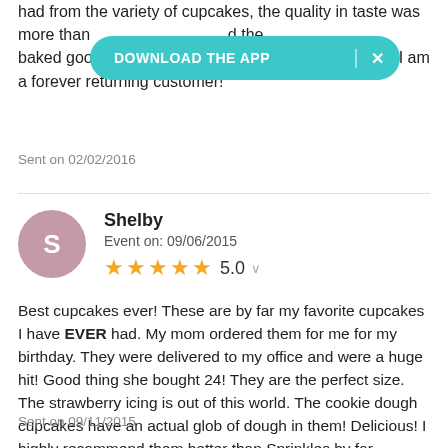had from the variety of cupcakes, the quality in taste was more than [obscured] d the baked goodies and it was perfect for our anniversary! I am a forever returning customer!
DOWNLOAD THE APP  ×
Sent on 02/02/2016
Shelby
Event on: 09/06/2015
★★★★★ 5.0
Best cupcakes ever! These are by far my favorite cupcakes I have EVER had. My mom ordered them for me for my birthday. They were delivered to my office and were a huge hit! Good thing she bought 24! They are the perfect size. The strawberry icing is out of this world. The cookie dough cupcakes have an actual glob of dough in them! Delicious! I highly recommend them better than Sprinkles by far.
Sent on 09/11/2015